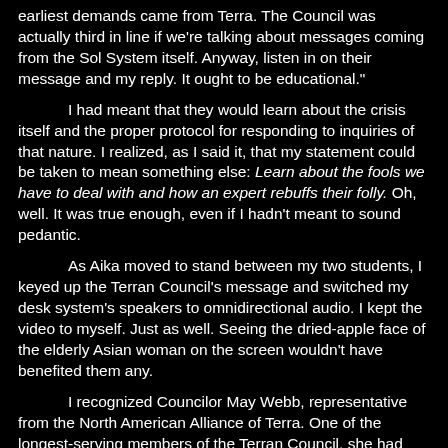earliest demands came from Terra.  The Council was actually third in line if we're talking about messages coming from the Sol System itself.  Anyway, listen in on their message and my reply.  It ought to be educational."
I had meant that they would learn about the crisis itself and the proper protocol for responding to inquiries of that nature.  I realized, as I said it, that my statement could be taken to mean something else: Learn about the fools we have to deal with and how an expert rebuffs their folly.  Oh, well.  It was true enough, even if I hadn't meant to sound pedantic.
As Aika moved to stand between my two students, I keyed up the Terran Council's message and switched my desk system's speakers to omnidirectional audio.  I kept the video to myself.  Just as well.  Seeing the dried-apple face of the elderly Asian woman on the screen wouldn't have benefited them any.
I recognized Councilor May Webb, representative from the North American Alliance of Terra.  One of the longest-serving members of the Terran Council, she had